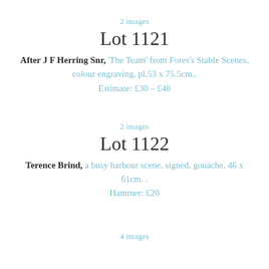2 images
Lot 1121
After J F Herring Snr, 'The Team' from Fores's Stable Scenes, colour engraving, pl.53 x 75.5cm.. Estimate: £30 – £40
2 images
Lot 1122
Terence Brind, a busy harbour scene, signed, gouache, 46 x 61cm. . Hammer: £20
4 images